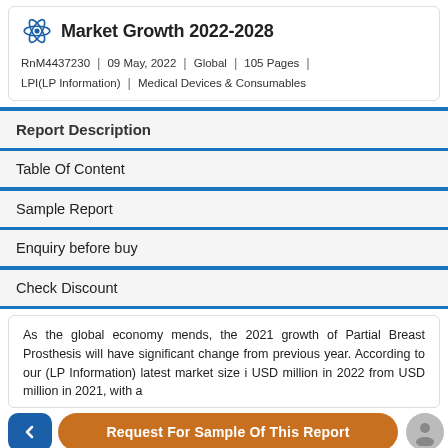Market Growth 2022-2028
RnM4437230 | 09 May, 2022 | Global | 105 Pages | LPI(LP Information) | Medical Devices & Consumables
Report Description
Table Of Content
Sample Report
Enquiry before buy
Check Discount
As the global economy mends, the 2021 growth of Partial Breast Prosthesis will have significant change from previous year. According to our (LP Information) latest market size i USD million in 2022 from USD million in 2021, with a
Request For Sample Of This Report